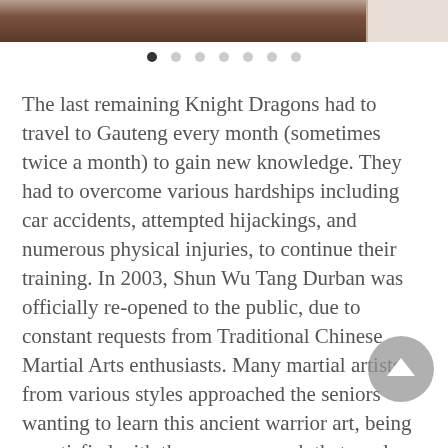[Figure (photo): Top portion of a photograph showing a dark brown interior scene, with a lighter colored panel or door visible on the right edge]
[Figure (other): Carousel navigation dots row: 7 dots, the first one filled/active (dark), the remaining 6 unfilled (light gray)]
The last remaining Knight Dragons had to travel to Gauteng every month (sometimes twice a month) to gain new knowledge. They had to overcome various hardships including car accidents, attempted hijackings, and numerous physical injuries, to continue their training. In 2003, Shun Wu Tang Durban was officially re-opened to the public, due to constant requests from Traditional Chinese Martial Arts enthusiasts. Many martial artists from various styles approached the seniors wanting to learn this ancient warrior art, being unsatisfied with the new approach that modern martial arts was taking, as well as the extremely high prices that some were charging at flashy (looking)schools, boasting to teach traditional